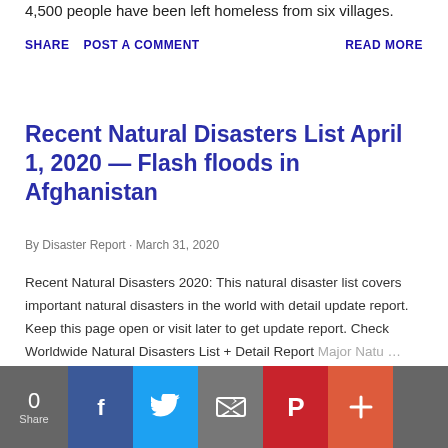4,500 people have been left homeless from six villages.
SHARE   POST A COMMENT   READ MORE
Recent Natural Disasters List April 1, 2020 — Flash floods in Afghanistan
By Disaster Report · March 31, 2020
Recent Natural Disasters 2020: This natural disaster list covers important natural disasters in the world with detail update report. Keep this page open or visit later to get update report. Check Worldwide Natural Disasters List + Detail Report Major Natu …
[Figure (other): Social share bar with Facebook, Twitter, Email, Pinterest, and More buttons, plus share count of 0]